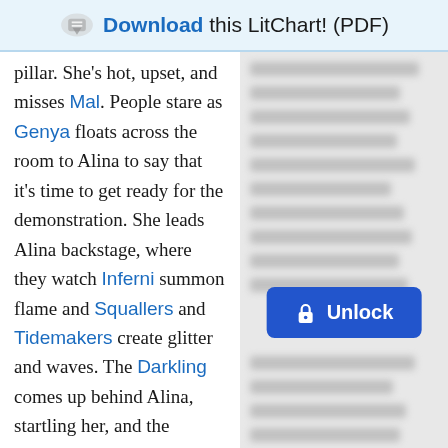Download this LitChart! (PDF)
pillar. She's hot, upset, and misses Mal. People stare as Genya floats across the room to Alina to say that it's time to get ready for the demonstration. She leads Alina backstage, where they watch Inferni summon flame and Squallers and Tidemakers create glitter and waves. The Darkling comes up behind Alina, startling her, and the orchestra starts to play ominous music. Ivan
[Figure (screenshot): Blurred/locked right-column content with Unlock button overlay]